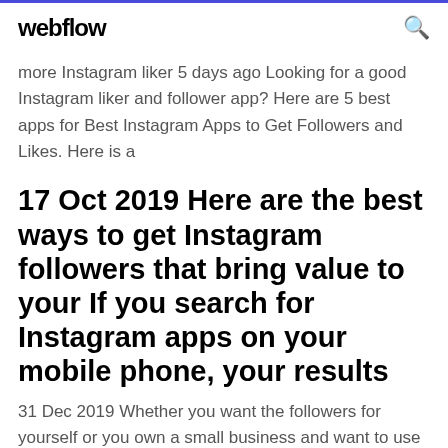webflow
more Instagram liker 5 days ago Looking for a good Instagram liker and follower app? Here are 5 best apps for Best Instagram Apps to Get Followers and Likes. Here is a
17 Oct 2019 Here are the best ways to get Instagram followers that bring value to your If you search for Instagram apps on your mobile phone, your results
31 Dec 2019 Whether you want the followers for yourself or you own a small business and want to use Instagram as a marketing tool, the best apps to get. Checkout this Page for